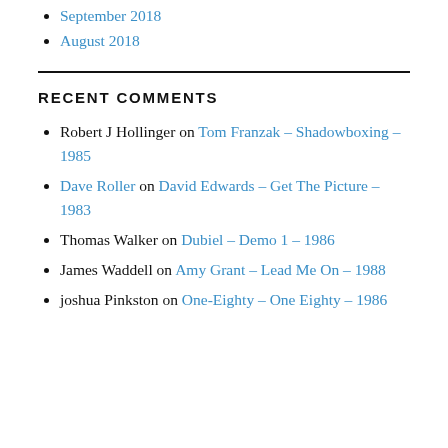September 2018
August 2018
RECENT COMMENTS
Robert J Hollinger on Tom Franzak – Shadowboxing – 1985
Dave Roller on David Edwards – Get The Picture – 1983
Thomas Walker on Dubiel – Demo 1 – 1986
James Waddell on Amy Grant – Lead Me On – 1988
joshua Pinkston on One-Eighty – One Eighty – 1986